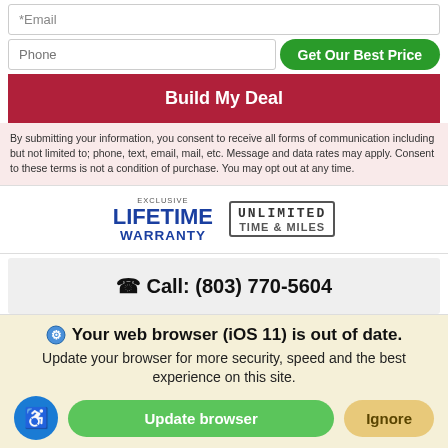*Email
Phone
Get Our Best Price
Build My Deal
By submitting your information, you consent to receive all forms of communication including but not limited to; phone, text, email, mail, etc. Message and data rates may apply. Consent to these terms is not a condition of purchase. You may opt out at any time.
[Figure (logo): Exclusive Lifetime Warranty badge with Unlimited Time & Miles logo]
Call: (803) 770-5604
Buy Now!
Your web browser (iOS 11) is out of date. Update your browser for more security, speed and the best experience on this site.
Update browser
Ignore